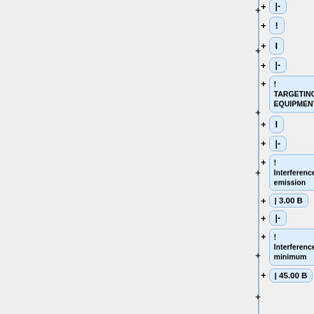[Figure (flowchart): A tree/hierarchy UI panel showing collapsible nodes with plus buttons. Left side is a grey panel. Right side shows nodes: '|-', '!', 'I', '|-', '! TARGETING EQUIPMENT', 'I', '|-', '! Interference emission', 'I  3.00 B', '|-', '! Interference minimum', 'I  45.00 B' (partially visible)]